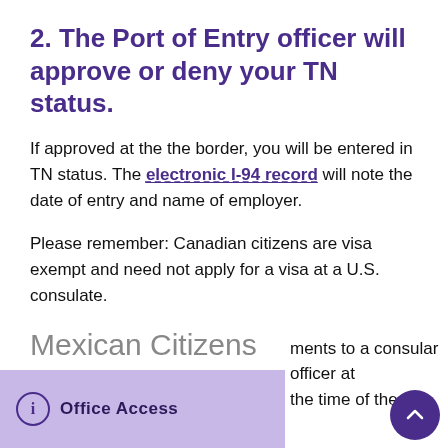2. The Port of Entry officer will approve or deny your TN status.
If approved at the the border, you will be entered in TN status. The electronic I-94 record will note the date of entry and name of employer.
Please remember: Canadian citizens are visa exempt and need not apply for a visa at a U.S. consulate.
Mexican Citizens
1. Apply for a TN visa.
ments to a consular officer at the time of the visa
Office Access